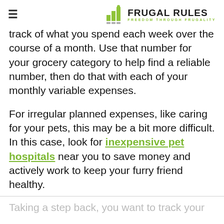≡  FRUGAL RULES — FREEDOM THROUGH FRUGALITY
track of what you spend each week over the course of a month. Use that number for your grocery category to help find a reliable number, then do that with each of your monthly variable expenses.
For irregular planned expenses, like caring for your pets, this may be a bit more difficult. In this case, look for inexpensive pet hospitals near you to save money and actively work to keep your furry friend healthy.
Taking a step back, you want to track your